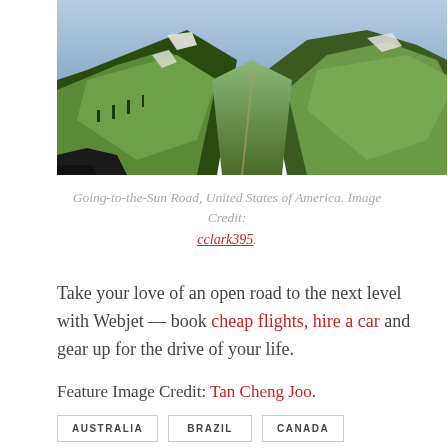[Figure (photo): Mountain valley scenic view - Going-to-the-Sun Road, green mountain slopes with snow patches]
Going-to-the-Sun Road, United States of America. Image Credit: cclark395.
Take your love of an open road to the next level with Webjet -- book cheap flights, hire a car and gear up for the drive of your life.
Feature Image Credit: Tan Cheng Joo.
AUSTRALIA
BRAZIL
CANADA
FRANCE
NEW ZEALAND
NORWAY